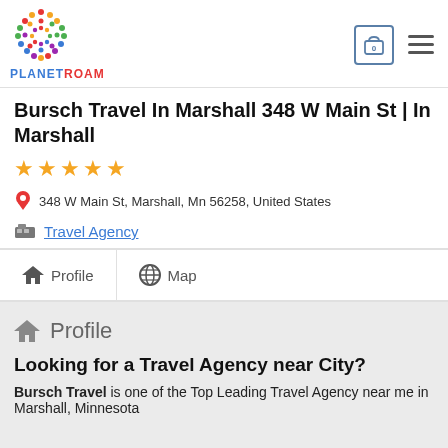PLANETROAM
Bursch Travel In Marshall 348 W Main St | In Marshall
★★★★★
348 W Main St, Marshall, Mn 56258, United States
Travel Agency
Profile | Map
Profile
Looking for a Travel Agency near City?
Bursch Travel is one of the Top Leading Travel Agency near me in Marshall, Minnesota